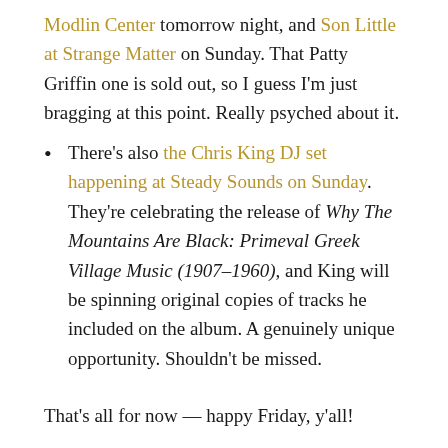Modlin Center tomorrow night, and Son Little at Strange Matter on Sunday. That Patty Griffin one is sold out, so I guess I'm just bragging at this point. Really psyched about it.
There's also the Chris King DJ set happening at Steady Sounds on Sunday. They're celebrating the release of Why The Mountains Are Black: Primeval Greek Village Music (1907-1960), and King will be spinning original copies of tracks he included on the album. A genuinely unique opportunity. Shouldn't be missed.
That's all for now — happy Friday, y'all!